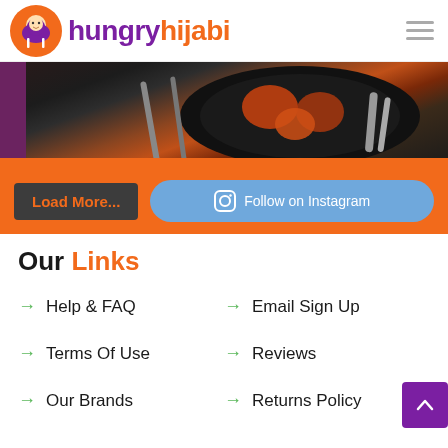[Figure (logo): Hungry Hijabi logo with orange circle icon showing a hijabi woman and the brand name in purple and orange]
[Figure (photo): Partial food photo showing dark cooking pan with food items, viewed from above]
Load More...
Follow on Instagram
Our Links
Help & FAQ
Email Sign Up
Terms Of Use
Reviews
Our Brands
Returns Policy